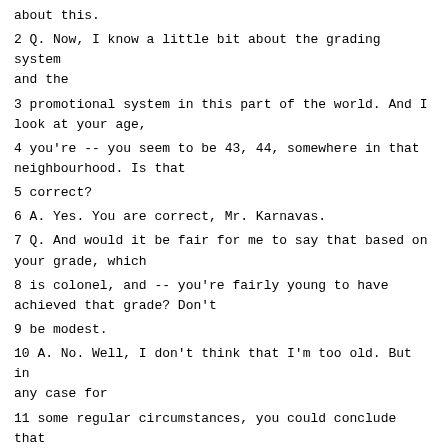about this.
2 Q. Now, I know a little bit about the grading system and the
3 promotional system in this part of the world. And I look at your age,
4 you're -- you seem to be 43, 44, somewhere in that neighbourhood. Is that
5 correct?
6 A. Yes. You are correct, Mr. Karnavas.
7 Q. And would it be fair for me to say that based on your grade, which
8 is colonel, and -- you're fairly young to have achieved that grade? Don't
9 be modest.
10 A. No. Well, I don't think that I'm too old. But in any case for
11 some regular circumstances, you could conclude that I am young. I agree
12 with what you have said.
13 Q. All right. And the fact that you were promoted so